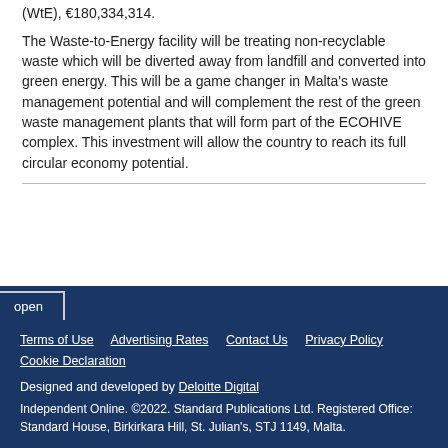(WtE), €180,334,314.
The Waste-to-Energy facility will be treating non-recyclable waste which will be diverted away from landfill and converted into green energy. This will be a game changer in Malta's waste management potential and will complement the rest of the green waste management plants that will form part of the ECOHIVE complex. This investment will allow the country to reach its full circular economy potential.
open | Terms of Use | Advertising Rates | Contact Us | Privacy Policy | Cookie Declaration | Designed and developed by Deloitte Digital | Independent Online. ©2022. Standard Publications Ltd. Registered Office: Standard House, Birkirkara Hill, St. Julian's, STJ 1149, Malta.